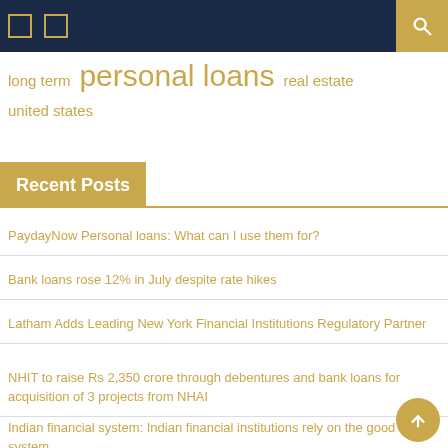Navigation bar with icons and search
long term  personal loans  real estate
united states
Recent Posts
PaydayNow Personal loans: What can I use them for?
Bank loans rose 12% in July despite rate hikes
Latham Adds Leading New York Financial Institutions Regulatory Partner
NHIT to raise Rs 2,350 crore through debentures and bank loans for acquisition of 3 projects from NHAI
Indian financial system: Indian financial institutions rely on the good old system